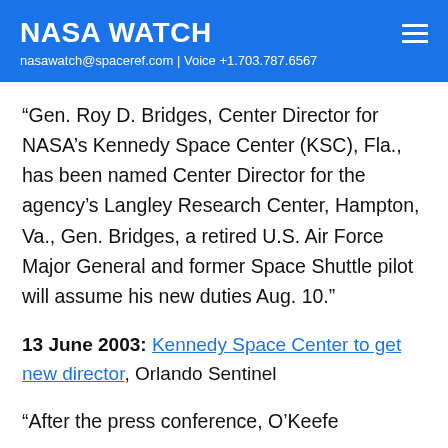NASA WATCH
nasawatch@spaceref.com | Voice +1.703.787.6567
“Gen. Roy D. Bridges, Center Director for NASA’s Kennedy Space Center (KSC), Fla., has been named Center Director for the agency’s Langley Research Center, Hampton, Va., Gen. Bridges, a retired U.S. Air Force Major General and former Space Shuttle pilot will assume his new duties Aug. 10.”
13 June 2003: Kennedy Space Center to get new director, Orlando Sentinel
“After the press conference, O’Keefe